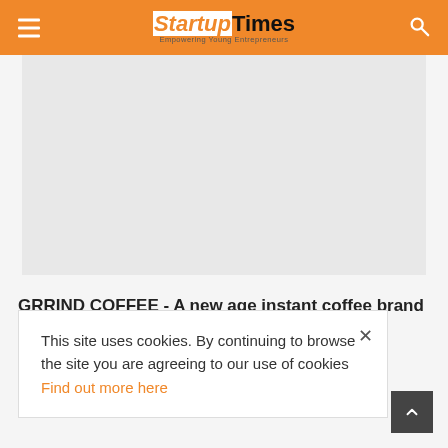Startup Times - Empowering Young Entrepreneurs
India
[Figure (other): Large image/advertisement placeholder area (light gray rectangle)]
GRRIND COFFEE - A new age instant coffee brand wi...
This site uses cookies. By continuing to browse the site you are agreeing to our use of cookies Find out more here